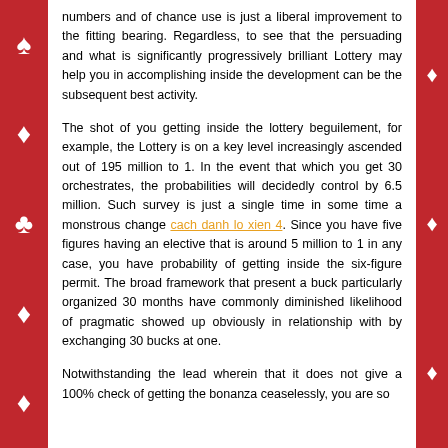numbers and of chance use is just a liberal improvement to the fitting bearing. Regardless, to see that the persuading and what is significantly progressively brilliant Lottery may help you in accomplishing inside the development can be the subsequent best activity.
The shot of you getting inside the lottery beguilement, for example, the Lottery is on a key level increasingly ascended out of 195 million to 1. In the event that which you get 30 orchestrates, the probabilities will decidedly control by 6.5 million. Such survey is just a single time in some time a monstrous change cach danh lo xien 4. Since you have five figures having an elective that is around 5 million to 1 in any case, you have probability of getting inside the six-figure permit. The broad framework that present a buck particularly organized 30 months have commonly diminished likelihood of pragmatic showed up obviously in relationship with by exchanging 30 bucks at one.
Notwithstanding the lead wherein that it does not give a 100% check of getting the bonanza ceaselessly, you are so